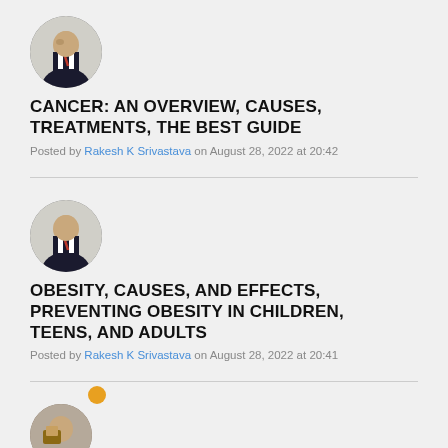[Figure (photo): Circular avatar photo of a man in a suit, dark background]
CANCER: AN OVERVIEW, CAUSES, TREATMENTS, THE BEST GUIDE
Posted by Rakesh K Srivastava on August 28, 2022 at 20:42
[Figure (photo): Circular avatar photo of a man in a suit, dark background]
OBESITY, CAUSES, AND EFFECTS, PREVENTING OBESITY IN CHILDREN, TEENS, AND ADULTS
Posted by Rakesh K Srivastava on August 28, 2022 at 20:41
[Figure (photo): Circular avatar photo of a man, brown/warm tones, with small badge icon]
Ignorant and Stupid Politicians Committed to Nuclear War: The Unthinkable: "Money and